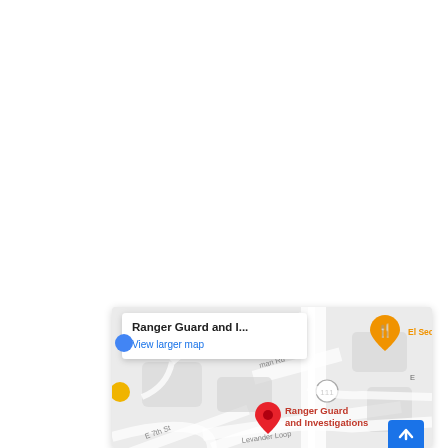[Figure (map): Google Maps screenshot showing the location of Ranger Guard and Investigations near E 7th St and Levander Loop in Austin, TX. A red map pin marks the location. An orange restaurant pin labeled 'El Secreto de Ab' is visible top right. A yellow pin is visible on the left. A popup tooltip reads 'Ranger Guard and I...' with a 'View larger map' link. Road 111 is visible. A blue scroll-to-top button appears in the bottom right.]